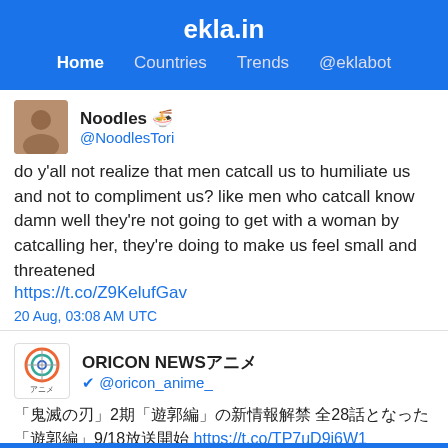ekla.in
Home  Countries  Trends  @eklabot
Noodles 🍜 @NoodlesTori
do y'all not realize that men catcall us to humiliate us and not to compliment us? like men who catcall know damn well they're not going to get with a woman by catcalling her, they're doing to make us feel small and threatened https://t.co/Z9KelufGav
20 Aug, 03:08 AM UTC
ORICON NEWSアニメ @oricon_anime_
「鬼滅の刃」2期「遊郭編」の新情報解禁 全28話となった「遊郭編」9/18放送開始 https://t.co/TP7uD9j6W1 #鬼滅の刃 #遊郭編 #鬼滅2期 #鬼滅の刃遊郭編